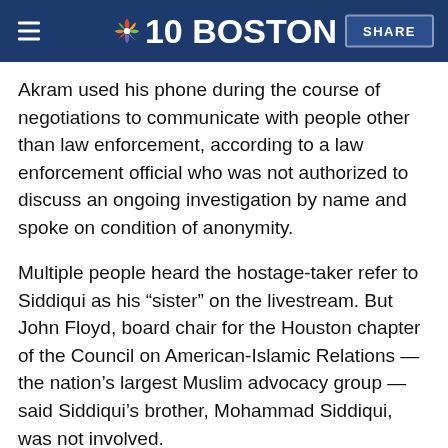NBC 10 BOSTON | SHARE
Akram used his phone during the course of negotiations to communicate with people other than law enforcement, according to a law enforcement official who was not authorized to discuss an ongoing investigation by name and spoke on condition of anonymity.
Multiple people heard the hostage-taker refer to Siddiqui as his “sister” on the livestream. But John Floyd, board chair for the Houston chapter of the Council on American-Islamic Relations — the nation’s largest Muslim advocacy group — said Siddiqui’s brother, Mohammad Siddiqui, was not involved.
“We want the assailant to know that his actions are wicked and directly undermine those of us who are seeking justice